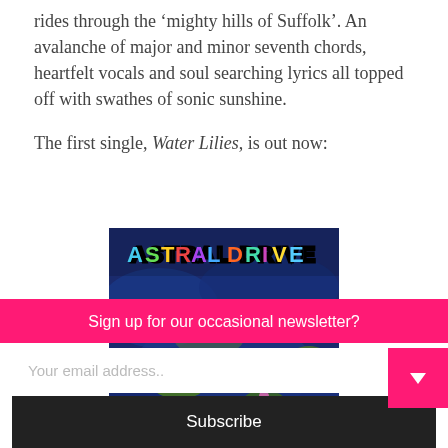rides through the ‘mighty hills of Suffolk’. An avalanche of major and minor seventh chords, heartfelt vocals and soul searching lyrics all topped off with swathes of sonic sunshine.
The first single, Water Lilies, is out now:
[Figure (photo): Album art for Astral Drive - Water Lilies single. Deep blue/green water lily pond painting with 'ASTRAL DRIVE' text at the top in colorful lettering, reminiscent of Monet's water lilies.]
Sign up for our occasional newsletter?
Your email address..
Subscribe